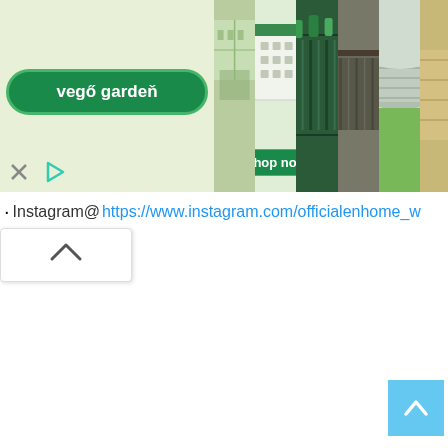[Figure (screenshot): Web advertisement banner for 'vegő garden' showing a green branded button with the text 'vegő gardeň', a Shop now call-to-action, and multiple product images of raised garden beds and planters. Below the ad is a partial Instagram link: Instagram@https://www.instagram.com/officialenhome_w... A collapse-up caret popup is visible on the left, and a scroll-to-top light blue button is in the bottom right.]